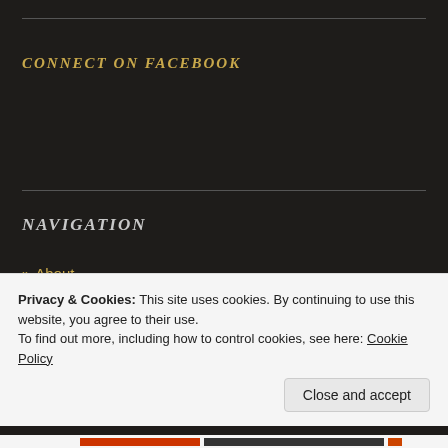CONNECT ON FACEBOOK
NAVIGATION
» About
» Contact
» Disclaimer
Advertisements
Privacy & Cookies: This site uses cookies. By continuing to use this website, you agree to their use.
To find out more, including how to control cookies, see here: Cookie Policy
Close and accept